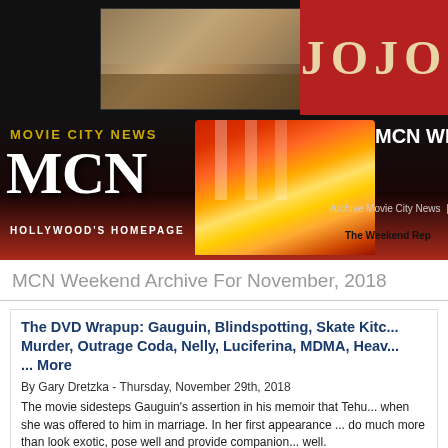[Figure (screenshot): Movie still from Jojo Rabbit showing characters at a table, with red JOJO title card on the right]
[Figure (logo): Movie City News MCN - Hollywood's Homepage banner with popcorn image and MCN Weekly text]
MCN Weekend Archive For November, 2018
The DVD Wrapup: Gauguin, Blindspotting, Skate Kitc... Murder, Outrage Coda, Nelly, Luciferina, MDMA, Heav... ... More
By Gary Dretzka - Thursday, November 29th, 2018
The movie sidesteps Gauguin's assertion in his memoir that Tehu... when she was offered to him in marriage. In her first appearance ... do much more than look exotic, pose well and provide companion... well.